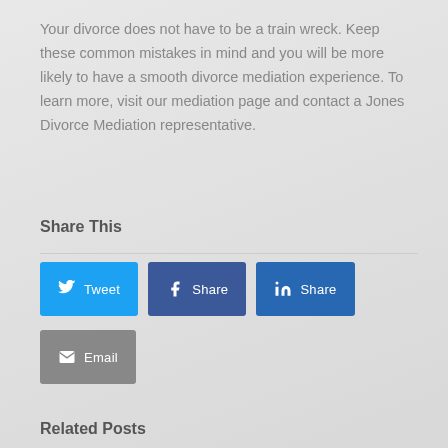Your divorce does not have to be a train wreck. Keep these common mistakes in mind and you will be more likely to have a smooth divorce mediation experience. To learn more, visit our mediation page and contact a Jones Divorce Mediation representative.
Share This
[Figure (other): Social share buttons: Tweet (Twitter), Share (Facebook), Share (LinkedIn), Email]
Related Posts